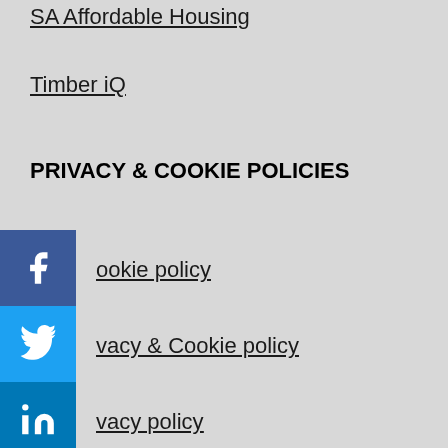SA Affordable Housing
Timber iQ
PRIVACY & COOKIE POLICIES
ookie policy
vacy & Cookie policy
vacy policy
sclaimer
e use cookies on our website to give you the most levant experience by remembering your preferences nd repeat visits. By clicking “Accept All”, you consent to he use of ALL the cookies. However, you may visit "Cookie Settings" to provide a controlled consent.